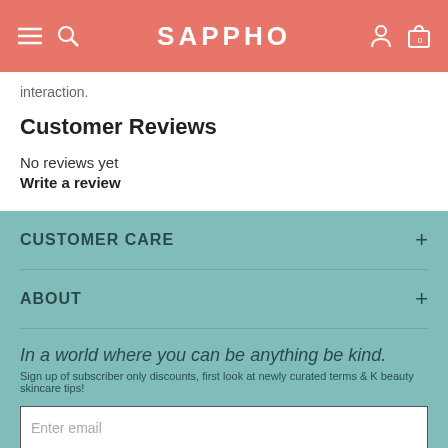SAPPHO
interaction.
Customer Reviews
No reviews yet
Write a review
CUSTOMER CARE
ABOUT
In a world where you can be anything be kind.
Sign up of subscriber only discounts, first look at newly curated terms & K beauty skincare tips!
Enter email
Join